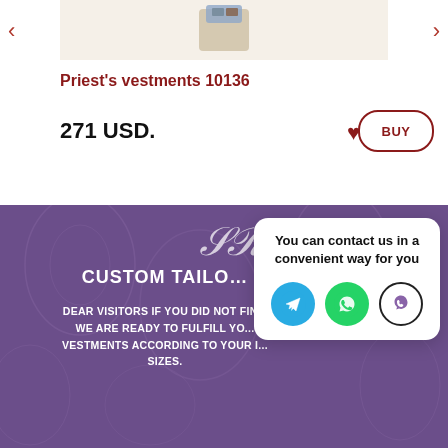[Figure (photo): Product image area showing priest's vestments 10136 on a beige/cream background with left and right navigation arrows]
Priest's vestments 10136
271 USD.
[Figure (illustration): Purple/violet decorative fabric banner background with a needle-and-thread logo monogram and custom tailoring text overlay]
CUSTOM TAILO...
DEAR VISITORS IF YOU DID NOT FIN... WE ARE READY TO FULFILL YO... VESTMENTS ACCORDING TO YOUR I... SIZES.
You can contact us in a convenient way for you